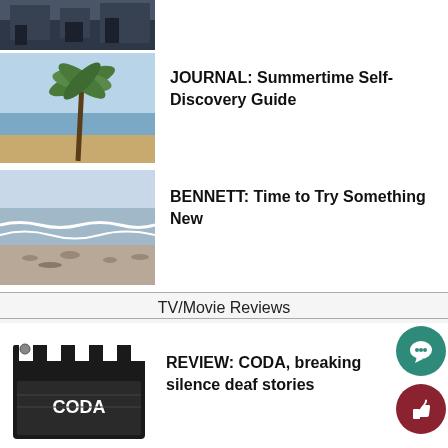[Figure (photo): Partial view of rooftop/industrial structure, cropped at top]
[Figure (photo): Palm tree on a beach with ocean in background]
JOURNAL: Summertime Self-Discovery Guide
[Figure (photo): Ocean waves washing onto a sandy/rocky beach shore]
BENNETT: Time to Try Something New
TV/Movie Reviews
[Figure (illustration): Movie clapperboard with CODA written on it]
REVIEW: CODA, breaking silence deaf stories